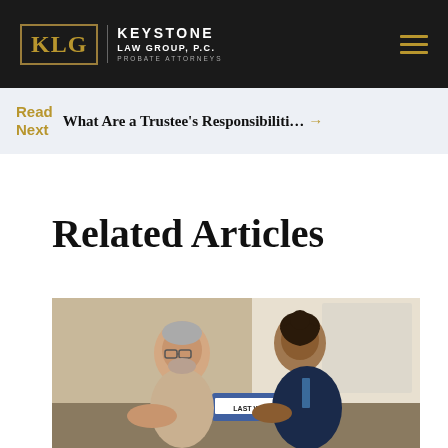KLG KEYSTONE LAW GROUP, P.C. PROBATE ATTORNEYS
Read Next  What Are a Trustee's Responsibiliti… →
Related Articles
[Figure (photo): Two men in a meeting, one older with glasses wearing a light shirt, one younger in a dark suit. A binder labeled 'LAST WILL' is on the table.]